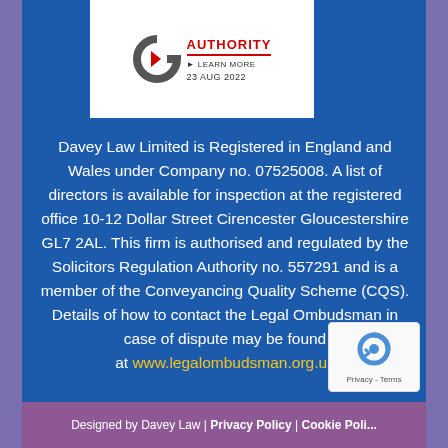[Figure (logo): Solicitors Regulation Authority logo with text 'AUTHORITY', 'LEARN MORE', '23 AUG 2022']
Davey Law Limited is Registered in England and Wales under Company no. 07525008. A list of directors is available for inspection at the registered office 10-12 Dollar Street Cirencester Gloucestershire GL7 2AL. This firm is authorised and regulated by the Solicitors Regulation Authority no. 557291 and is a member of the Conveyancing Quality Scheme (CQS). Details of how to contact the Legal Ombudsman in case of dispute may be found at www.legalombudsman.org.uk
Designed by Davey Law | Privacy Policy | Cookie Policy